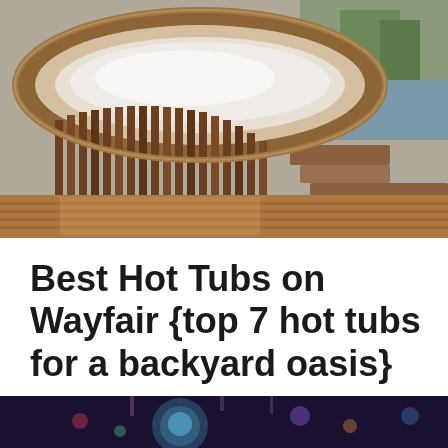[Figure (photo): Outdoor wooden hot tub with circular design, steam rising, wood plank siding and decking, steps visible on the right side, natural background with trees and water]
Best Hot Tubs on Wayfair {top 7 hot tubs for a backyard oasis}
[Figure (photo): Bottom partial image showing what appears to be a colorful/night scene, partially cut off at bottom of page]